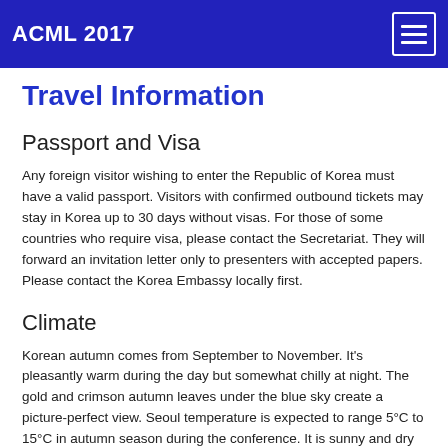ACML 2017
Travel Information
Passport and Visa
Any foreign visitor wishing to enter the Republic of Korea must have a valid passport. Visitors with confirmed outbound tickets may stay in Korea up to 30 days without visas. For those of some countries who require visa, please contact the Secretariat. They will forward an invitation letter only to presenters with accepted papers. Please contact the Korea Embassy locally first.
Climate
Korean autumn comes from September to November. It's pleasantly warm during the day but somewhat chilly at night. The gold and crimson autumn leaves under the blue sky create a picture-perfect view. Seoul temperature is expected to range 5°C to 15°C in autumn season during the conference. It is sunny and dry in Seoul. Relative humidity is 40-70%. The weather is not too hot during the day.